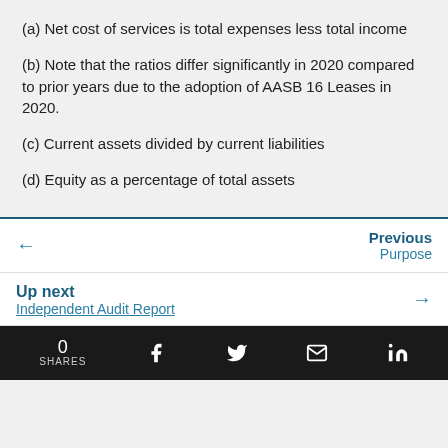(a) Net cost of services is total expenses less total income
(b) Note that the ratios differ significantly in 2020 compared to prior years due to the adoption of AASB 16 Leases in 2020.
(c) Current assets divided by current liabilities
(d) Equity as a percentage of total assets
Previous Purpose | Up next Independent Audit Report | 0 SHARES